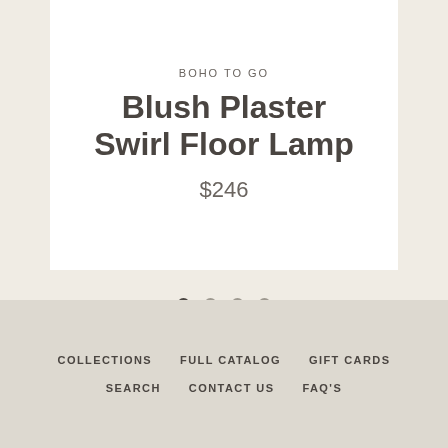BOHO TO GO
Blush Plaster Swirl Floor Lamp
$246
[Figure (other): Carousel pagination dots: one filled dark dot followed by three empty/outline dots]
COLLECTIONS   FULL CATALOG   GIFT CARDS   SEARCH   CONTACT US   FAQ'S